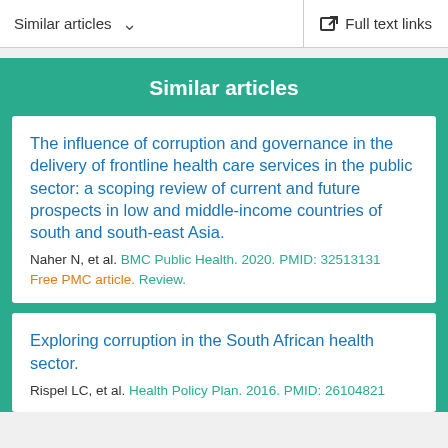Similar articles   Full text links
Similar articles
The influence of corruption and governance in the delivery of frontline health care services in the public sector: a scoping review of current and future prospects in low and middle-income countries of south and south-east Asia.
Naher N, et al. BMC Public Health. 2020. PMID: 32513131
Free PMC article. Review.
Exploring corruption in the South African health sector.
Rispel LC, et al. Health Policy Plan. 2016. PMID: 26104821